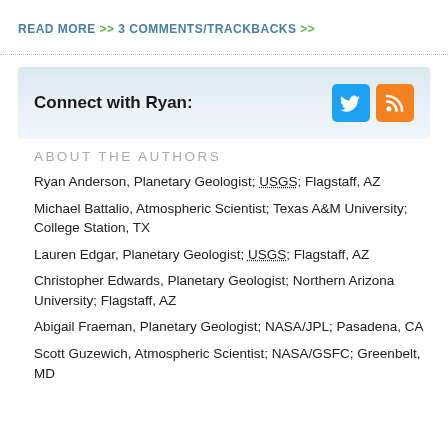READ MORE >>
3 COMMENTS/TRACKBACKS >>
Connect with Ryan:
ABOUT THE AUTHORS
Ryan Anderson, Planetary Geologist; USGS; Flagstaff, AZ
Michael Battalio, Atmospheric Scientist; Texas A&M University; College Station, TX
Lauren Edgar, Planetary Geologist; USGS; Flagstaff, AZ
Christopher Edwards, Planetary Geologist; Northern Arizona University; Flagstaff, AZ
Abigail Fraeman, Planetary Geologist; NASA/JPL; Pasadena, CA
Scott Guzewich, Atmospheric Scientist; NASA/GSFC; Greenbelt, MD